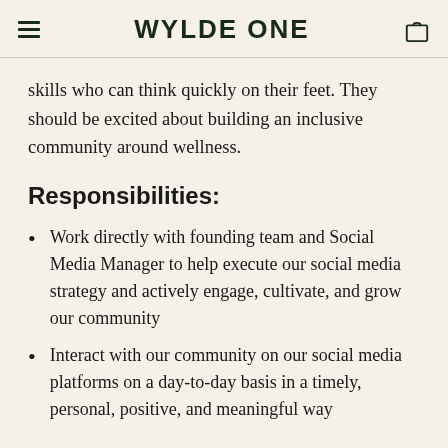WYLDE ONE
skills who can think quickly on their feet. They should be excited about building an inclusive community around wellness.
Responsibilities:
Work directly with founding team and Social Media Manager to help execute our social media strategy and actively engage, cultivate, and grow our community
Interact with our community on our social media platforms on a day-to-day basis in a timely, personal, positive, and meaningful way